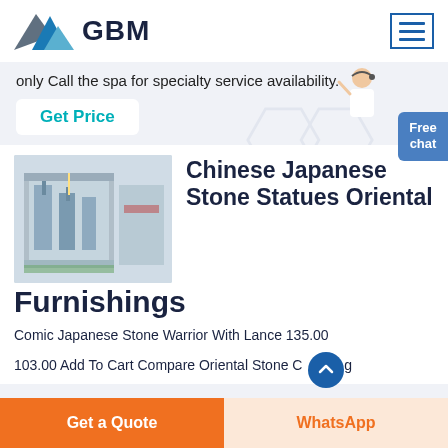[Figure (logo): GBM logo with blue mountain/arrow graphic and bold GBM text]
only Call the spa for specialty service availability.
Get Price
[Figure (photo): Industrial machinery/equipment in a factory setting]
Chinese Japanese Stone Statues Oriental Furnishings
Comic Japanese Stone Warrior With Lance 135.00
103.00 Add To Cart Compare Oriental Stone C...g
Get a Quote
WhatsApp